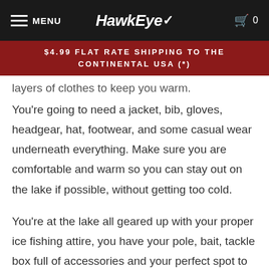MENU HawkEye 0
$4.99 FLAT RATE SHIPPING TO THE CONTINENTAL USA (*)
layers of clothes to keep you warm. You're going to need a jacket, bib, gloves, headgear, hat, footwear, and some casual wear underneath everything. Make sure you are comfortable and warm so you can stay out on the lake if possible, without getting too cold.
You're at the lake all geared up with your proper ice fishing attire, you have your pole, bait, tackle box full of accessories and your perfect spot to